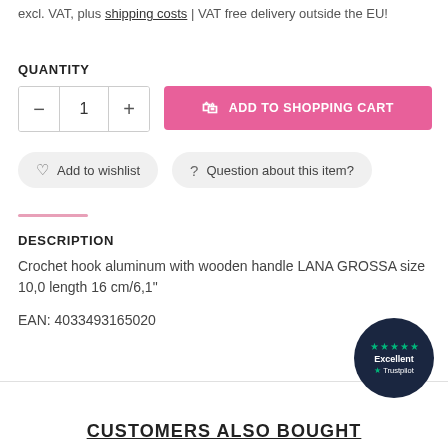excl. VAT, plus shipping costs | VAT free delivery outside the EU!
QUANTITY
— 1 + ADD TO SHOPPING CART
♡ Add to wishlist   ? Question about this item?
DESCRIPTION
Crochet hook aluminum with wooden handle LANA GROSSA size 10,0 length 16 cm/6,1"
EAN: 4033493165020
CUSTOMERS ALSO BOUGHT